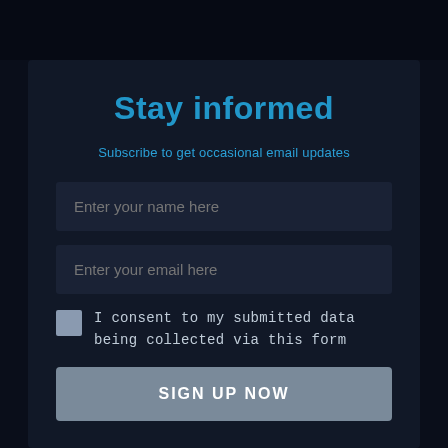Stay informed
Subscribe to get occasional email updates
Enter your name here
Enter your email here
I consent to my submitted data being collected via this form
SIGN UP NOW